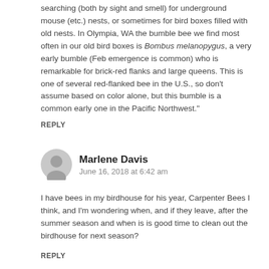searching (both by sight and smell) for underground mouse (etc.) nests, or sometimes for bird boxes filled with old nests. In Olympia, WA the bumble bee we find most often in our old bird boxes is Bombus melanopygus, a very early bumble (Feb emergence is common) who is remarkable for brick-red flanks and large queens. This is one of several red-flanked bee in the U.S., so don't assume based on color alone, but this bumble is a common early one in the Pacific Northwest."
REPLY
Marlene Davis
June 16, 2018 at 6:42 am
I have bees in my birdhouse for his year, Carpenter Bees I think, and I'm wondering when, and if they leave, after the summer season and when is is good time to clean out the birdhouse for next season?
REPLY